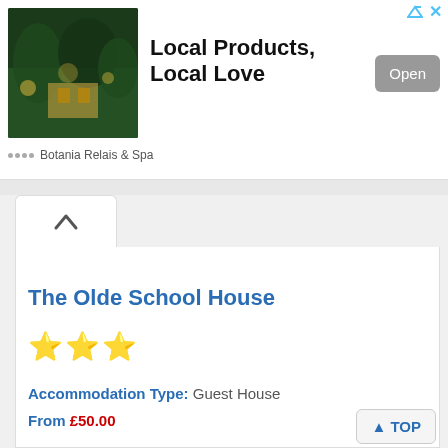[Figure (screenshot): Advertisement banner for Botania Relais & Spa with hotel photo, headline 'Local Products, Local Love', and an Open button]
The Olde School House
[Figure (infographic): Three gold star rating icons]
Accommodation Type: Guest House
From £50.00